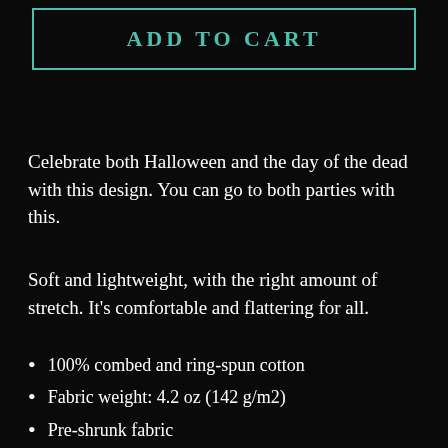ADD TO CART
Celebrate both Halloween and the day of the dead with this design. You can go to both parties with this.
Soft and lightweight, with the right amount of stretch. It's comfortable and flattering for all.
100% combed and ring-spun cotton
Fabric weight: 4.2 oz (142 g/m2)
Pre-shrunk fabric
Side-seamed construction